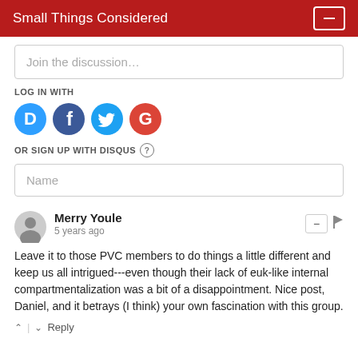Small Things Considered
Join the discussion…
LOG IN WITH
[Figure (other): Social login icons: Disqus (blue D), Facebook (dark blue f), Twitter (blue bird), Google (red G)]
OR SIGN UP WITH DISQUS ?
Name
Merry Youle
5 years ago
Leave it to those PVC members to do things a little different and keep us all intrigued---even though their lack of euk-like internal compartmentalization was a bit of a disappointment. Nice post, Daniel, and it betrays (I think) your own fascination with this group.
Reply